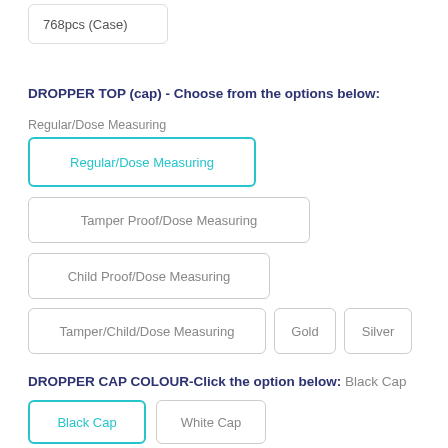768pcs (Case)
DROPPER TOP (cap) - Choose from the options below:
Regular/Dose Measuring
Regular/Dose Measuring (selected)
Tamper Proof/Dose Measuring
Child Proof/Dose Measuring
Tamper/Child/Dose Measuring
Gold
Silver
DROPPER CAP COLOUR-Click the option below: Black Cap
Black Cap (selected)
White Cap